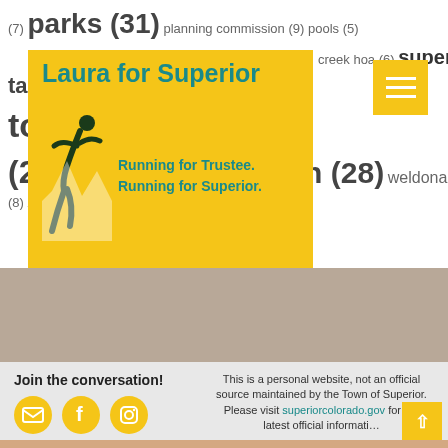[Figure (logo): Laura for Superior campaign logo on yellow background with runner silhouette and mountains. Text: 'Laura for Superior', 'Running for Trustee. Running for Superior.']
(7) parks (31) planning commission (9) pools (5) creek hoa (6) taxes (15) town meetings (28) trails (8) transportation (28) weldona (8) zaharias (6)
Join the conversation!
This is a personal website, not an official source maintained by the Town of Superior. Please visit superiorcolorado.gov for the latest official information